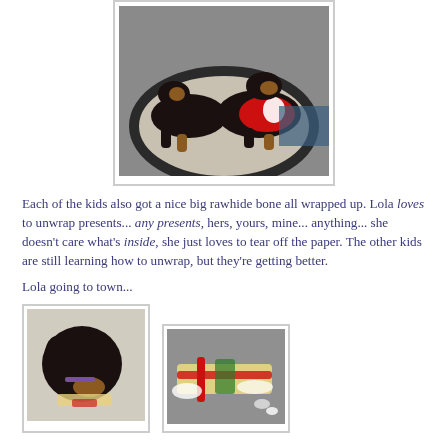[Figure (photo): Two dachshund dogs lying on a round dog bed. One dog is wearing a red jacket/vest with a white paw print design.]
Each of the kids also got a nice big rawhide bone all wrapped up. Lola loves to unwrap presents... any presents, hers, yours, mine... anything... she doesn't care what's inside, she just loves to tear off the paper. The other kids are still learning how to unwrap, but they're getting better.
Lola going to town...
[Figure (photo): A black and tan dachshund dog looking down, unwrapping a present.]
[Figure (photo): Torn wrapping paper and a rawhide bone on the floor after being unwrapped.]